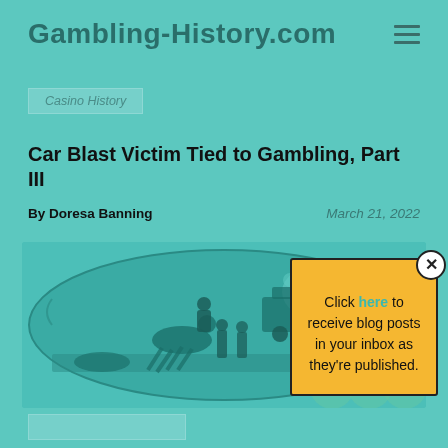Gambling-History.com
Casino History
Car Blast Victim Tied to Gambling, Part III
By Doresa Banning
March 21, 2022
[Figure (illustration): Western/frontier scene illustration showing cowboys, horses, and a train in an oval vignette on teal background]
Click here to receive blog posts in your inbox as they're published.